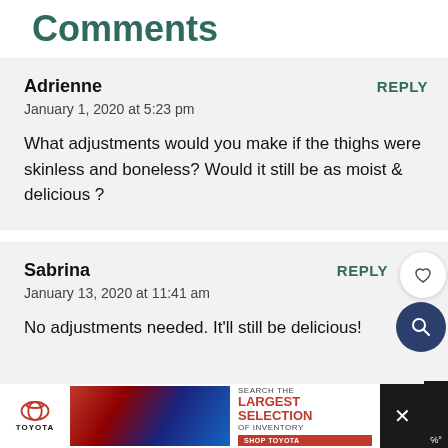Comments
Adrienne
January 1, 2020 at 5:23 pm
What adjustments would you make if the thighs were skinless and boneless? Would it still be as moist & delicious ?
Sabrina
January 13, 2020 at 11:41 am
No adjustments needed. It'll still be delicious!
[Figure (infographic): Toyota advertisement banner: Toyota logo on left, car images in center, text 'SEARCH THE LARGEST SELECTION OF INVENTORY SHOP TOYOTA' on right, with close (X) button on far right]